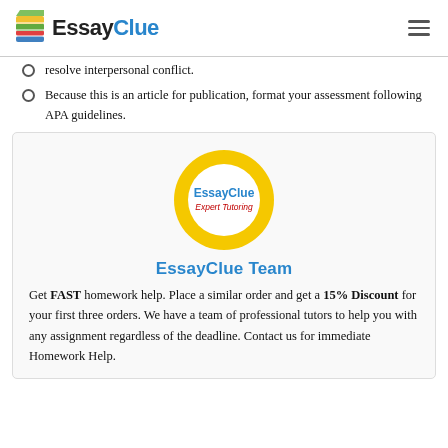EssayClue
resolve interpersonal conflict.
Because this is an article for publication, format your assessment following APA guidelines.
[Figure (logo): EssayClue Expert Tutoring logo — circular yellow ring with white center, blue bold text 'EssayClue' and red italic 'Expert Tutoring' inside]
EssayClue Team
Get FAST homework help. Place a similar order and get a 15% Discount for your first three orders. We have a team of professional tutors to help you with any assignment regardless of the deadline. Contact us for immediate Homework Help.